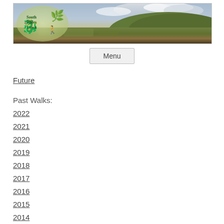[Figure (photo): South Wales Lowa hiking club banner with landscape photo showing moorland, hills and cloudy sky, with oval logo containing dragon and leek symbols and club name text]
Menu
Future
Past Walks:
2022
2021
2020
2019
2018
2017
2016
2015
2014